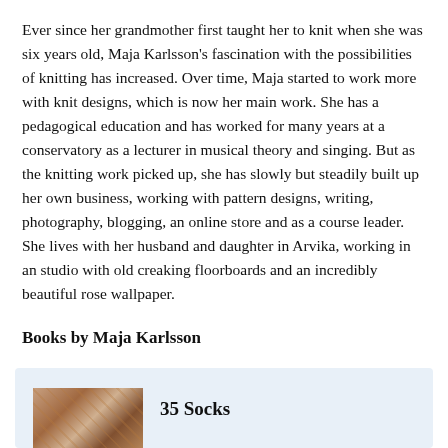Ever since her grandmother first taught her to knit when she was six years old, Maja Karlsson's fascination with the possibilities of knitting has increased. Over time, Maja started to work more with knit designs, which is now her main work. She has a pedagogical education and has worked for many years at a conservatory as a lecturer in musical theory and singing. But as the knitting work picked up, she has slowly but steadily built up her own business, working with pattern designs, writing, photography, blogging, an online store and as a course leader. She lives with her husband and daughter in Arvika, working in an studio with old creaking floorboards and an incredibly beautiful rose wallpaper.
Books by Maja Karlsson
[Figure (photo): Book cover thumbnail for 35 Socks]
35 Socks